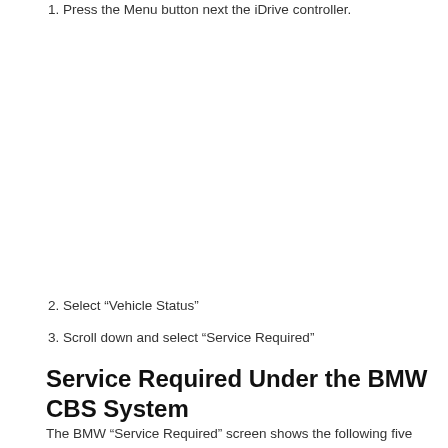1. Press the Menu button next the iDrive controller.
2. Select “Vehicle Status”
3. Scroll down and select “Service Required”
Service Required Under the BMW CBS System
The BMW “Service Required” screen shows the following five maintenance categories with the detailed information